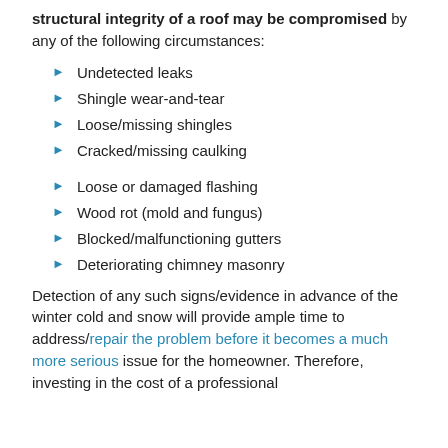structural integrity of a roof may be compromised by any of the following circumstances:
Undetected leaks
Shingle wear-and-tear
Loose/missing shingles
Cracked/missing caulking
Loose or damaged flashing
Wood rot (mold and fungus)
Blocked/malfunctioning gutters
Deteriorating chimney masonry
Detection of any such signs/evidence in advance of the winter cold and snow will provide ample time to address/repair the problem before it becomes a much more serious issue for the homeowner. Therefore, investing in the cost of a professional